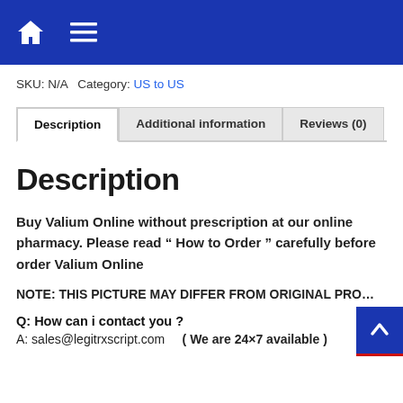Navigation bar with home icon and menu icon
SKU: N/A Category: US to US
Description | Additional information | Reviews (0)
Description
Buy Valium Online without prescription at our online pharmacy. Please read “ How to Order ” carefully before order Valium Online
NOTE: THIS PICTURE MAY DIFFER FROM ORIGINAL PRO...
Q: How can i contact you ?
A: sales@legitrxscript.com   ( We are 24×7 available )